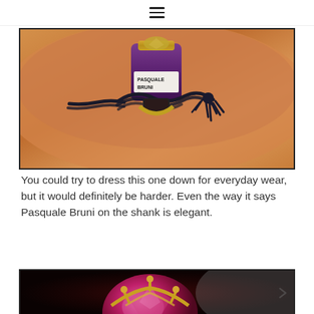≡
[Figure (photo): Close-up photo of a Pasquale Bruni ring with a purple gemstone set in a gold bezel, wrapped with a black cord/tassel, held against a warm orange/peach background.]
You could try to dress this one down for everyday wear, but it would definitely be harder. Even the way it says Pasquale Bruni on the shank is elegant.
[Figure (photo): Close-up photo of a Pasquale Bruni ring with a large red/purple gemstone in a dark setting, partially visible at the bottom of the page.]